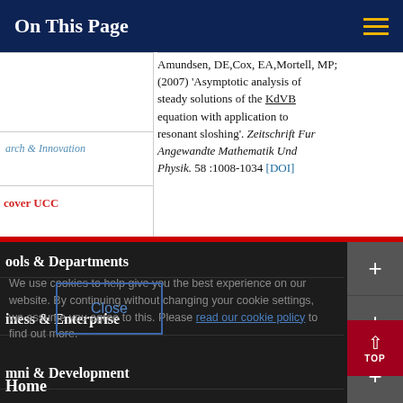On This Page
Amundsen, DE,Cox, EA,Mortell, MP; (2007) 'Asymptotic analysis of steady solutions of the KdVB equation with application to resonant sloshing'. Zeitschrift Fur Angewandte Mathematik Und Physik. 58 :1008-1034 [DOI]
Tools & Departments
We use cookies to help give you the best experience on our website. By continuing without changing your cookie settings, we assume you agree to this. Please read our cookie policy to find out more.
iness & Enterprise
mni & Development
Close
Home